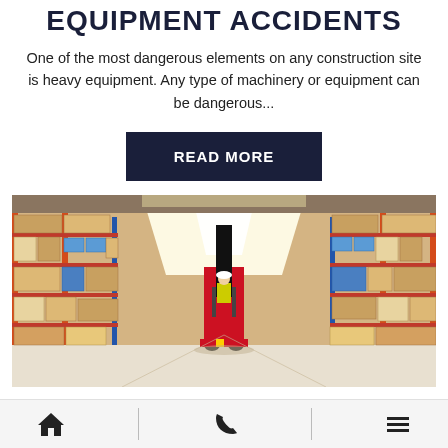EQUIPMENT ACCIDENTS
One of the most dangerous elements on any construction site is heavy equipment. Any type of machinery or equipment can be dangerous...
READ MORE
[Figure (photo): Warehouse interior with tall shelving racks stocked with boxes and pallets on both sides, with a worker operating a red reach forklift in the center aisle under bright overhead lighting.]
Home | Phone | Menu